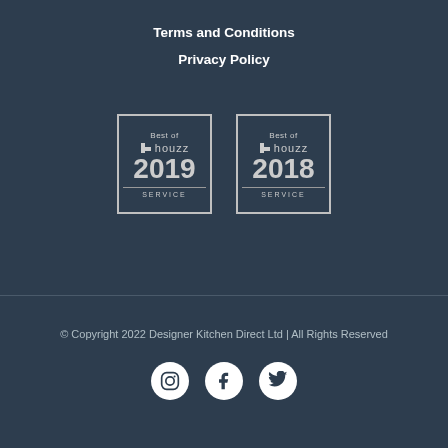Terms and Conditions
Privacy Policy
[Figure (logo): Best of Houzz 2019 SERVICE badge]
[Figure (logo): Best of Houzz 2018 SERVICE badge]
© Copyright 2022 Designer Kitchen Direct Ltd | All Rights Reserved
[Figure (infographic): Social media icons: Instagram, Facebook, Twitter]